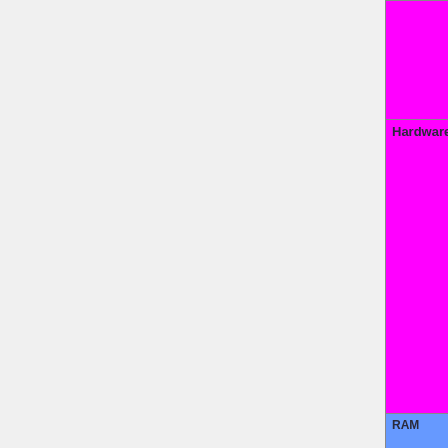| Feature | Status |
| --- | --- |
|  | Untested=yellow | N/A=lightgray yellow }}" | OK... |
| Hardware virtualization | OK=lime | TODO=red | No=red | WIP=orange | Untested=yellow | N/A=lightgray yellow }}" | OK... |
| RAM |  |
| EDO | OK=lime | TODO=red | No=red | WIP=orange | Untested=yellow | N/A=lightgray yellow }}" | N/A... |
| SDRAM | OK=lime | TODO=red | No=red | WIP=orange | Untested=yel... |